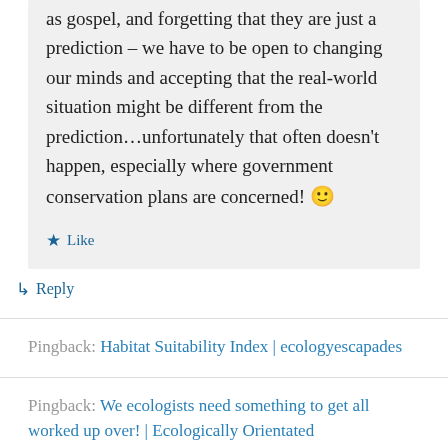as gospel, and forgetting that they are just a prediction – we have to be open to changing our minds and accepting that the real-world situation might be different from the prediction…unfortunately that often doesn't happen, especially where government conservation plans are concerned! 🙂
★ Like
↳ Reply
Pingback: Habitat Suitability Index | ecologyescapades
Pingback: We ecologists need something to get all worked up over! | Ecologically Orientated